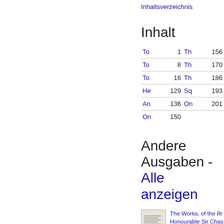Inhaltsverzeichnis
Inhalt
| To | 1 | Th | 156 |
| To | 8 | Th | 170 |
| To | 16 | Th | 186 |
| He | 129 | Sq | 193 |
| An | 136 | On | 201 |
| On | 150 |  |  |
Andere Ausgaben - Alle anzeigen
[Figure (photo): Book thumbnail/cover image]
The Works, of the Ri Honourable Sir Chas Hanbury Williams